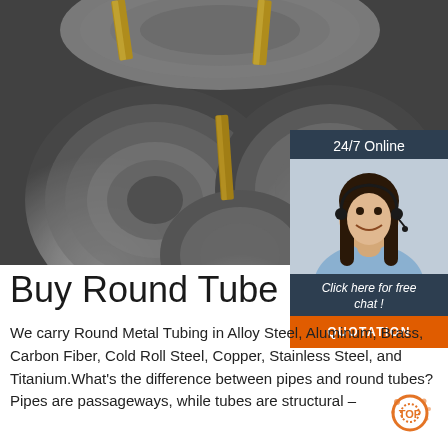[Figure (photo): Photograph of large steel coils/rolls stacked together, with gold/yellow metal straps securing them. Industrial setting.]
[Figure (photo): Customer service representative woman with headset smiling, with '24/7 Online' header and 'Click here for free chat!' text and QUOTATION button in dark blue/orange sidebar]
Buy Round Tube
We carry Round Metal Tubing in Alloy Steel, Aluminum, Brass, Carbon Fiber, Cold Roll Steel, Copper, Stainless Steel, and Titanium.What's the difference between pipes and round tubes? Pipes are passageways, while tubes are structural –